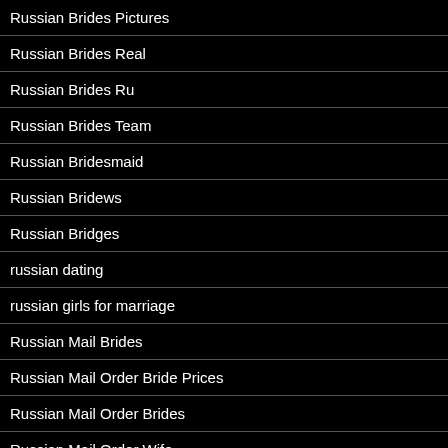Russian Brides Pictures
Russian Brides Real
Russian Brides Ru
Russian Brides Team
Russian Bridesmaid
Russian Bridews
Russian Bridges
russian dating
russian girls for marriage
Russian Mail Brides
Russian Mail Order Bride Prices
Russian Mail Order Brides
Russian Mail Order Wife